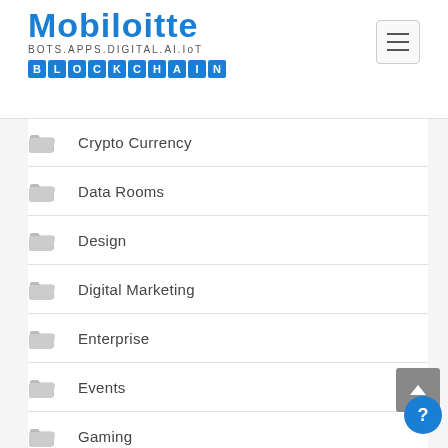Mobiloitte BOTS.APPS.DIGITAL.AI.IoT BLOCKCHAIN
Crypto Currency
Data Rooms
Design
Digital Marketing
Enterprise
Events
Gaming
GDPR
Hire Dedicated Developer
Internet of Things